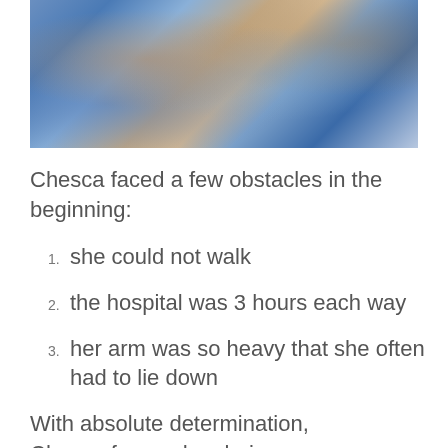[Figure (photo): Close-up photo of what appears to be an animal (possibly a cat or small mammal) wrapped or resting in a blue blanket or fabric.]
Chesca faced a few obstacles in the beginning:
1. she could not walk
2. the hospital was 3 hours each way
3. her arm was so heavy that she often had to lie down
With absolute determination, Chesca focused on being a